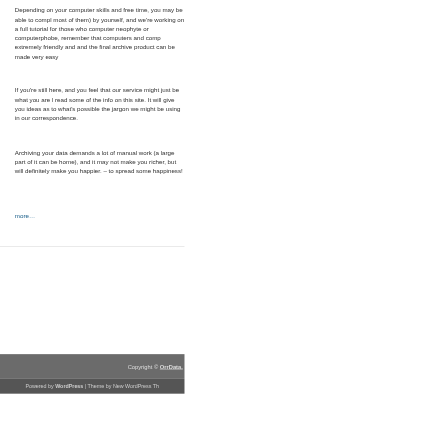Depending on your computer skills and free time, you may be able to complete (most of them) by yourself, and we're working on a full tutorial for those who computer neophyte or computerphobe, remember that computers and comp extremely friendly and and the final archive product can be made very easy
If you're still here, and you feel that our service might just be what you are l read some of the info on this site. It will give you ideas as to what's possible the jargon we might be using in our correspondence.
Archiving your data demands a lot of manual work (a large part of it can be home), and it may not make you richer, but will definitely make you happier. – to spread some happiness!
more…
Copyright © OrrData.
Powered by WordPress | Theme by New WordPress Th